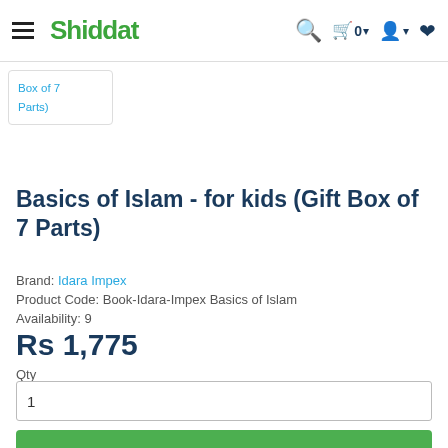Shiddat — navigation bar with hamburger, logo, search, cart (0), user, wishlist icons
Box of 7 Parts)
Basics of Islam - for kids (Gift Box of 7 Parts)
Brand: Idara Impex
Product Code: Book-Idara-Impex Basics of Islam
Availability: 9
Rs 1,775
Qty
1
Buy Now
Add to Cart